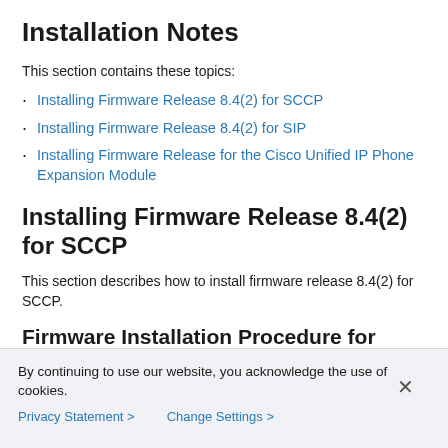Installation Notes
This section contains these topics:
Installing Firmware Release 8.4(2) for SCCP
Installing Firmware Release 8.4(2) for SIP
Installing Firmware Release for the Cisco Unified IP Phone Expansion Module
Installing Firmware Release 8.4(2) for SCCP
This section describes how to install firmware release 8.4(2) for SCCP.
Firmware Installation Procedure for
By continuing to use our website, you acknowledge the use of cookies.
Privacy Statement > Change Settings >